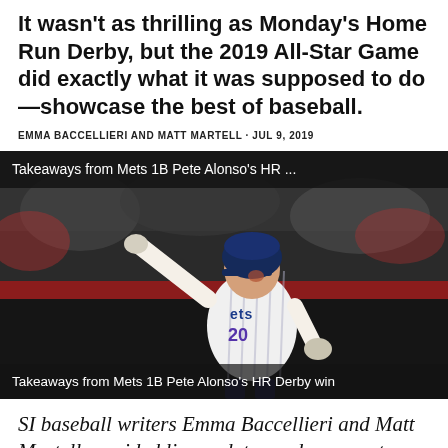It wasn't as thrilling as Monday's Home Run Derby, but the 2019 All-Star Game did exactly what it was supposed to do—showcase the best of baseball.
EMMA BACCELLIERI AND MATT MARTELL · JUL 9, 2019
[Figure (photo): Baseball player wearing Mets jersey number 20 pointing with arm extended, celebrating a home run, with crowd in background. Top overlay text: 'Takeaways from Mets 1B Pete Alonso's HR ...' Bottom overlay text: 'Takeaways from Mets 1B Pete Alonso's HR Derby win']
SI baseball writers Emma Baccellieri and Matt Martell provided live updates and commentary